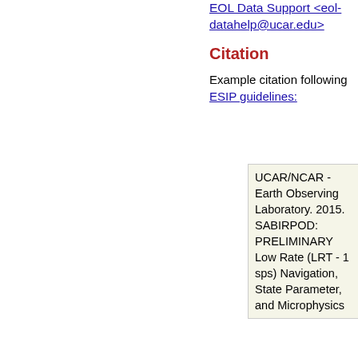EOL Data Support <eol-datahelp@ucar.edu>
Citation
Example citation following ESIP guidelines:
UCAR/NCAR - Earth Observing Laboratory. 2015. SABIRPOD: PRELIMINARY Low Rate (LRT - 1 sps) Navigation, State Parameter, and Microphysics